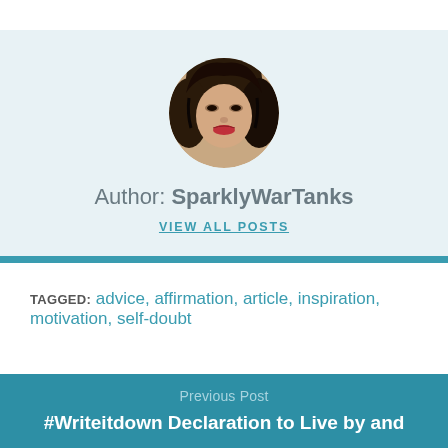[Figure (photo): Circular profile photo of a young woman with dark curly hair and red lipstick, used as author avatar]
Author: SparklyWarTanks
VIEW ALL POSTS
TAGGED: advice, affirmation, article, inspiration, motivation, self-doubt
Previous Post
#Writeitdown Declaration to Live by and